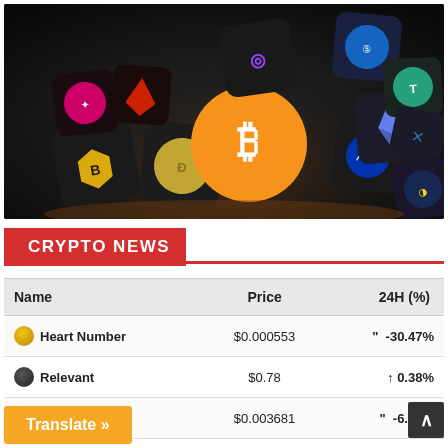[Figure (photo): Cryptocurrency logos (Bitcoin, Binance, Ethereum, Dogecoin, Solana, Tether, XRP, and others) displayed as 3D dark cube tiles on a dark background with dramatic lighting.]
CRYPTO NEWS
| Name | Price | 24H (%) |
| --- | --- | --- |
| Heart Number | $0.000553 | " -30.47% |
| Relevant | $0.78 | ↑ 0.38% |
| DSLA Protocol | $0.003681 | " -6.85% |
|  | $0.004392 | " -4.43% |